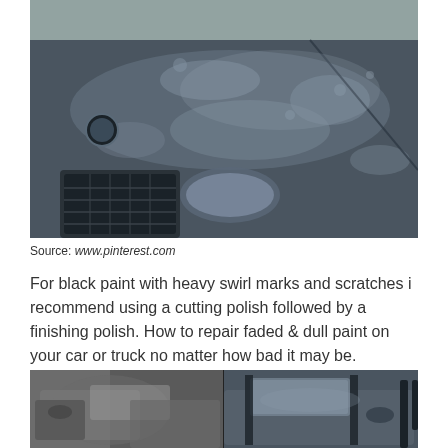[Figure (photo): Close-up photo of a dark/black BMW car hood with heavy swirl marks, scratches, and faded dull paint. The car is outdoors and the hood shows significant paint oxidation and water spots. BMW logo visible on front.]
Source: www.pinterest.com
For black paint with heavy swirl marks and scratches i recommend using a cutting polish followed by a finishing polish. How to repair faded & dull paint on your car or truck no matter how bad it may be.
[Figure (photo): Before and after comparison photo of a car paint restoration. Left half shows dull/oxidized paint in black and white, right half shows restored shiny paint. Car is a dark colored sedan photographed outdoors.]